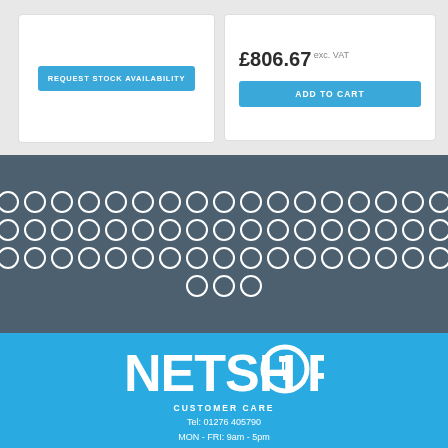REQUEST STOCK AVAILABILITY
£806.67 exc. VAT
ADD TO CART
[Figure (other): Carousel pagination dots — 3 rows of 19 circles plus a partial row of 3 circles; first circle is filled white, rest are outlined white on dark blue-grey background]
[Figure (logo): NETSHOP logo in bold white text on blue background, with a RJ45/network connector icon replacing the O in SHOP]
CUSTOMER CARE
Tel: 01276 405790
MON - FRI: 9am - 5pm
sales@netshop.co.uk
SIGN UP FOR OUR NEWSLETTER
Full name...